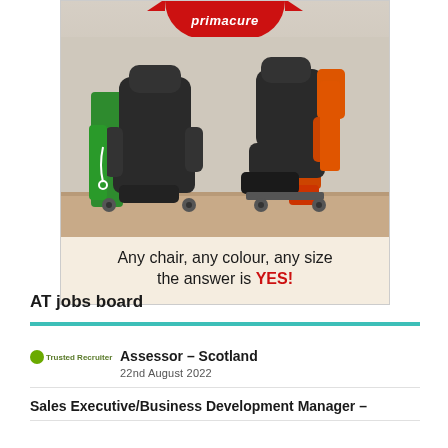[Figure (photo): Advertisement for Primacure showing two assistive chairs — one with green side panels and one with orange/red side panels — against a light wall background, with text 'Any chair, any colour, any size the answer is YES!' below the chairs.]
AT jobs board
Assessor – Scotland
22nd August 2022
Sales Executive/Business Development Manager –